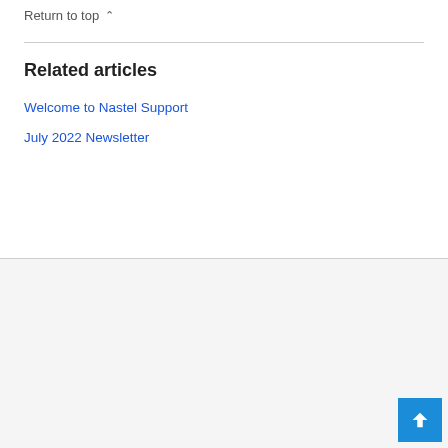Return to top ∧
Related articles
Welcome to Nastel Support
July 2022 Newsletter
© 2022 Copyright, Nastel® Technologies
Resource Center images are for illustrative purposes only. Due to product enhancements, actual product dialogs may differ from the images depicted.